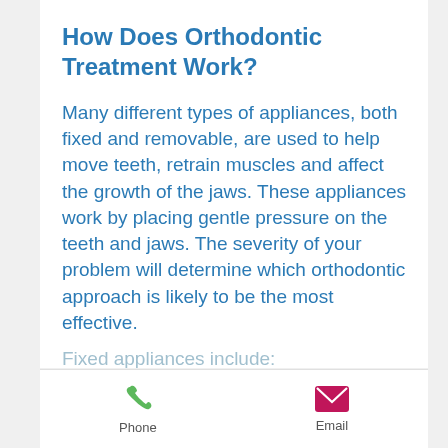How Does Orthodontic Treatment Work?
Many different types of appliances, both fixed and removable, are used to help move teeth, retrain muscles and affect the growth of the jaws. These appliances work by placing gentle pressure on the teeth and jaws. The severity of your problem will determine which orthodontic approach is likely to be the most effective.
Fixed appliances include:
Phone   Email